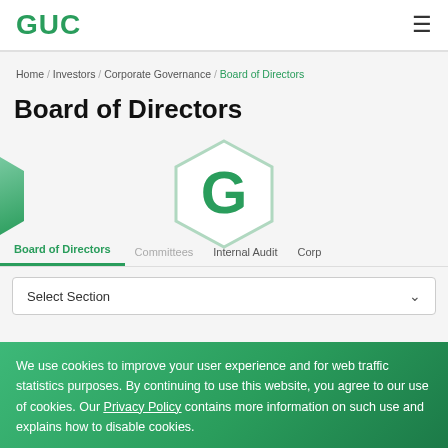GUC
Home / Investors / Corporate Governance / Board of Directors
Board of Directors
[Figure (logo): GUC hexagon logo with large green G letter inside a hexagonal outline]
Board of Directors  Committees  Internal Audit  Corp...
Select Section
We use cookies to improve your user experience and for web traffic statistics purposes. By continuing to use this website, you agree to our use of cookies. Our Privacy Policy contains more information on such use and explains how to disable cookies.